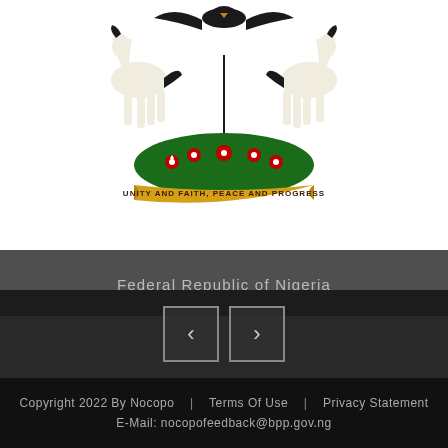[Figure (illustration): Coat of Arms of the Federal Republic of Nigeria showing two horses, eagle, eagle supporters, green and white shield, green wreath at base with red flowers, and a banner reading 'UNITY AND FAITH, PEACE AND PROGRESS']
Federal Republic of Nigeria
[Figure (other): Slider navigation buttons with left and right chevron arrows]
Copyright 2022 By Nocopo  |  Terms Of Use  |  Privacy Statement
E-Mail: nocopofeedback@bpp.gov.ng